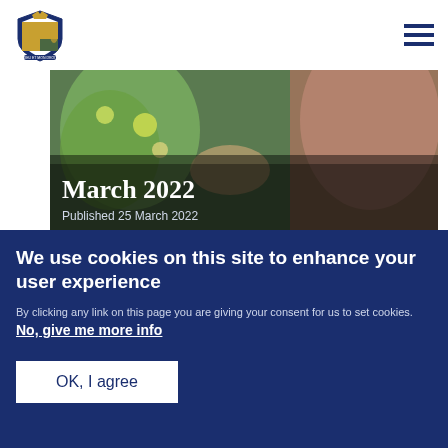[Figure (logo): UK Government coat of arms / royal crest logo in blue]
[Figure (photo): Top banner image showing hands with floral background, overlaid with title 'March 2022' and date 'Published 25 March 2022']
March 2022
Published 25 March 2022
[Figure (photo): Photo of two men in a dimly lit indoor setting]
We use cookies on this site to enhance your user experience
By clicking any link on this page you are giving your consent for us to set cookies. No, give me more info
OK, I agree